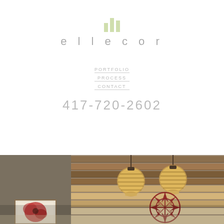[Figure (logo): Ellecor logo with green bar chart icon above the word 'ellecor' in gray spaced letters]
PORTFOLIO
PROCESS
CONTACT
417-720-2602
[Figure (photo): Interior design photo showing a rustic wood plank wall art piece with two hanging globe pendant lights and a decorative metal compass rose/star wall ornament. A framed art piece is visible at the lower left.]